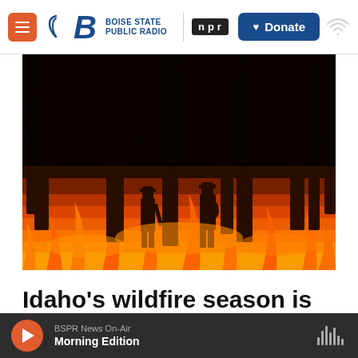Boise State Public Radio | NPR | Donate
[Figure (photo): Silhouettes of firefighters standing in front of a wildfire at night, with tall trees and bright orange flames visible in the background]
Idaho's wildfire season is here
BSPR News On-Air — Morning Edition (audio player bar)